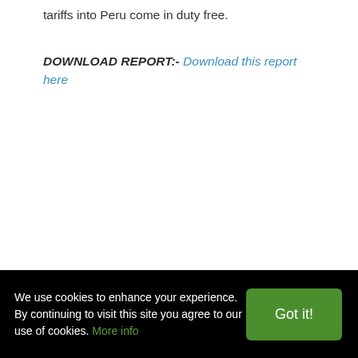tariffs into Peru come in duty free.
DOWNLOAD REPORT:- Download this report here
We use cookies to enhance your experience. By continuing to visit this site you agree to our use of cookies. More info